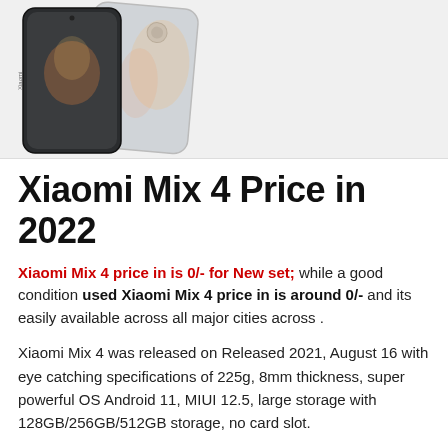[Figure (photo): Two Xiaomi Mix 4 smartphones shown from front and back angles against a light gray background.]
Xiaomi Mix 4 Price in 2022
Xiaomi Mix 4 price in is 0/- for New set; while a good condition used Xiaomi Mix 4 price in is around 0/- and its easily available across all major cities across .
Xiaomi Mix 4 was released on Released 2021, August 16 with eye catching specifications of 225g, 8mm thickness, super powerful OS Android 11, MIUI 12.5, large storage with 128GB/256GB/512GB storage, no card slot.
The Xiaomi Mix 4 is a great choice in the best mobile